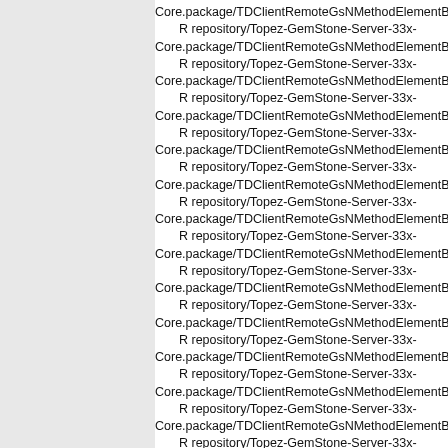Core.package/TDClientRemoteGsNMethodElementBuilder repository/Topez-GemStone-Server-33x-Core.package/TDClientRemoteGsNMethodElementBuilder repository/Topez-GemStone-Server-33x-Core.package/TDClientRemoteGsNMethodElementBuilder repository/Topez-GemStone-Server-33x-Core.package/TDClientRemoteGsNMethodElementBuilder repository/Topez-GemStone-Server-33x-Core.package/TDClientRemoteGsNMethodElementBuilder repository/Topez-GemStone-Server-33x-Core.package/TDClientRemoteGsNMethodElementBuilder repository/Topez-GemStone-Server-33x-Core.package/TDClientRemoteGsNMethodElementBuilder repository/Topez-GemStone-Server-33x-Core.package/TDClientRemoteGsNMethodElementBuilder repository/Topez-GemStone-Server-33x-Core.package/TDClientRemoteGsNMethodElementBuilder repository/Topez-GemStone-Server-33x-Core.package/TDClientRemoteGsNMethodElementBuilder repository/Topez-GemStone-Server-33x-Core.package/TDClientRemoteGsNMethodElementBuilder repository/Topez-GemStone-Server-33x-Core.package/TDClientRemoteGsNMethodElementBuilder repository/Topez-GemStone-Server-33x-